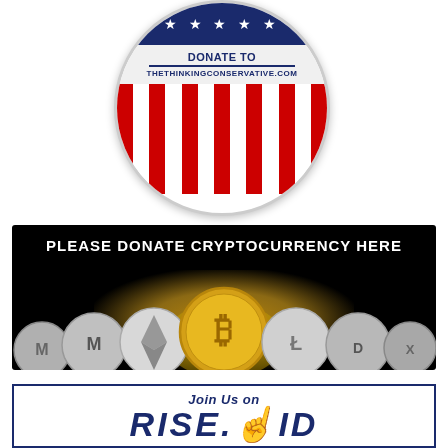[Figure (illustration): Circular campaign-style button badge with blue star band at top, white center band reading 'DONATE TO THETHINKINGCONSERVATIVE.COM', and red-and-white vertical stripes at the bottom.]
[Figure (illustration): Black banner with white bold text 'PLEASE DONATE CRYPTOCURRENCY HERE' and photo-illustration of multiple cryptocurrency coins (Bitcoin gold coin center, silver Ethereum, Monero, Litecoin, Dash coins around it) with golden glow effect.]
[Figure (illustration): White banner with blue border containing italic text 'Join Us on' and large bold letters 'RISE.ID' with a pointing finger icon between the words.]